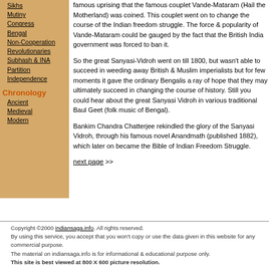Sikhs
Mutiny
Congress
Bengal
Non-Cooperation
Revolutionaries
Subhash & INA
Partition
Independence
Chronology
Ancient
Medieval
Modern
famous uprising that the famous couplet Vande-Mataram (Hail the Motherland) was coined. This couplet went on to change the course of the Indian freedom struggle. The force & popularity of Vande-Mataram could be gauged by the fact that the British India government was forced to ban it.
So the great Sanyasi-Vidroh went on till 1800, but wasn't able to succeed in weeding away British & Muslim imperialists but for few moments it gave the ordinary Bengalis a ray of hope that they may ultimately succeed in changing the course of history. Still you could hear about the great Sanyasi Vidroh in various traditional Baul Geet (folk music of Bengal).
Bankim Chandra Chatterjee rekindled the glory of the Sanyasi Vidroh, through his famous novel Anandmath (published 1882), which later on became the Bible of Indian Freedom Struggle.
next page >>
Copyright ©2000 indiansaga.info. All rights reserved.
By using this service, you accept that you won't copy or use the data given in this website for any commercial purpose.
The material on indiansaga.info is for informational & educational purpose only.
This site is best viewed at 800 X 600 picture resolution.